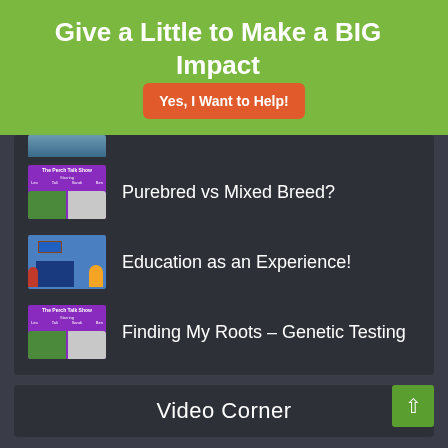Give a Little to Make a BIG Impact
Yes, I Want to Help!
[Figure (photo): Partial thumbnail of an image cut off at top]
[Figure (photo): The Perch Talk Show thumbnail with a parrot and a dog]
Purebred vs Mixed Breed?
[Figure (photo): Blue background with a building and cartoon characters]
Education as an Experience!
[Figure (photo): The Perch Talk Show thumbnail with a parrot and a dog]
Finding My Roots – Genetic Testing
Video Corner